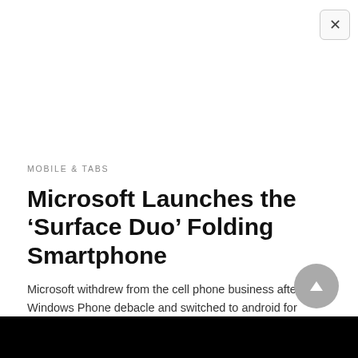[Figure (screenshot): Close button (X) in upper right of a modal or overlay panel]
MOBILE & TABS
Microsoft Launches the ‘Surface Duo’ Folding Smartphone
Microsoft withdrew from the cell phone business after the Windows Phone debacle and switched to android for better business prospects....
2 years ago
[Figure (photo): Dark/black image at the bottom of the page, likely an article thumbnail]